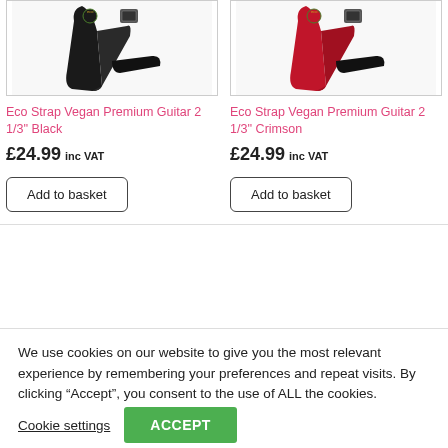[Figure (photo): Black Eco Strap Vegan Premium Guitar 2 1/3 inch guitar strap product photo]
[Figure (photo): Crimson/red Eco Strap Vegan Premium Guitar 2 1/3 inch guitar strap product photo]
Eco Strap Vegan Premium Guitar 2 1/3'' Black
Eco Strap Vegan Premium Guitar 2 1/3'' Crimson
£24.99 inc VAT
£24.99 inc VAT
Add to basket
Add to basket
We use cookies on our website to give you the most relevant experience by remembering your preferences and repeat visits. By clicking “Accept”, you consent to the use of ALL the cookies.
Cookie settings
ACCEPT